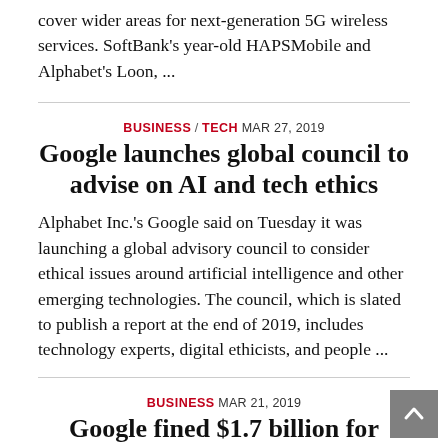cover wider areas for next-generation 5G wireless services. SoftBank's year-old HAPSMobile and Alphabet's Loon, ...
BUSINESS / TECH MAR 27, 2019
Google launches global council to advise on AI and tech ethics
Alphabet Inc.'s Google said on Tuesday it was launching a global advisory council to consider ethical issues around artificial intelligence and other emerging technologies. The council, which is slated to publish a report at the end of 2019, includes technology experts, digital ethicists, and people ...
BUSINESS MAR 21, 2019
Google fined $1.7 billion for blocking rival online search advertisers,